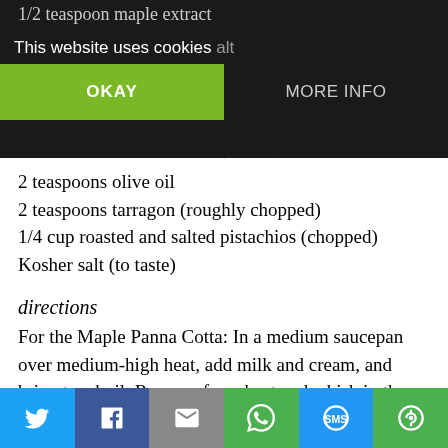1/2 teaspoon maple extract
This website uses cookies alt
ROASTED GRAPES:
es (halved)
OKAY
MORE INFO
2 teaspoons olive oil
2 teaspoons tarragon (roughly chopped)
1/4 cup roasted and salted pistachios (chopped)
Kosher salt (to taste)
directions
For the Maple Panna Cotta: In a medium saucepan over medium-high heat, add milk and cream, and bring to a boil. Remove from heat and whisk in the maple syrup. Sprinkle the gelatin over the milk mixture and allow to sit until bloomed, about 5 minutes.
Place the saucepan over low heat and whisk mixture